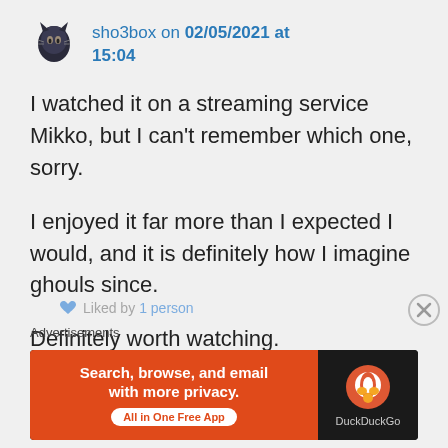[Figure (illustration): Small avatar icon of a dark cat figurine]
sho3box on 02/05/2021 at 15:04
I watched it on a streaming service Mikko, but I can't remember which one, sorry.

I enjoyed it far more than I expected I would, and it is definitely how I imagine ghouls since.

Definitely worth watching.
Liked by 1 person
Advertisements
[Figure (screenshot): DuckDuckGo advertisement banner: 'Search, browse, and email with more privacy. All in One Free App' on orange background with DuckDuckGo logo on dark background]